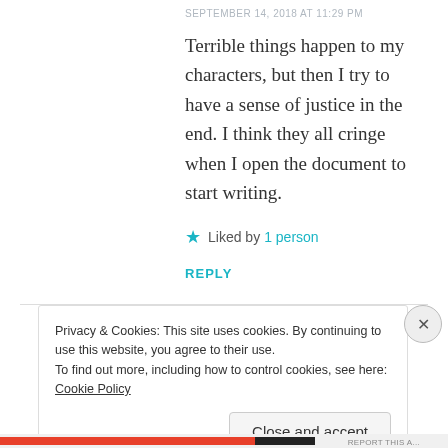SEPTEMBER 14, 2018 AT 11:29 PM
Terrible things happen to my characters, but then I try to have a sense of justice in the end. I think they all cringe when I open the document to start writing.
★ Liked by 1 person
REPLY
Privacy & Cookies: This site uses cookies. By continuing to use this website, you agree to their use.
To find out more, including how to control cookies, see here: Cookie Policy
Close and accept